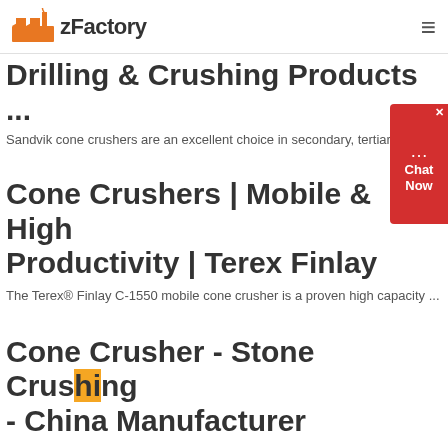zFactory
Drilling & Crushing Products ...
Sandvik cone crushers are an excellent choice in secondary, tertiary...
Cone Crushers | Mobile & High Productivity | Terex Finlay
The Terex® Finlay C-1550 mobile cone crusher is a proven high capacity ...
Cone Crusher - Stone Crushing - China Manufacturer